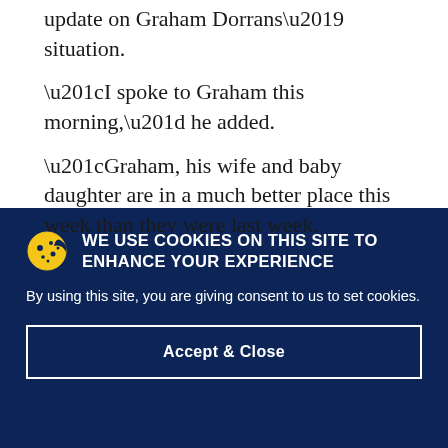update on Graham Dorrans' situation.
“I spoke to Graham this morning,” he added.
“Graham, his wife and baby daughter are in a much better place this week than they were last week.
WE USE COOKIES ON THIS SITE TO ENHANCE YOUR EXPERIENCE
By using this site, you are giving consent to us to set cookies.
Accept & Close